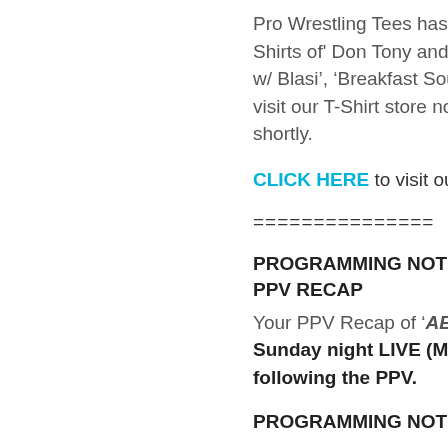Pro Wrestling Tees has launched the only source for T-Shirts of 'Don Tony and Kevin Castle Show', 'Breakfast w/ Blasi', 'Breakfast Soup', and even 'Deli Man'! Please visit our T-Shirt store now. More designs will be added shortly.
CLICK HERE to visit our T-Shirt Store now!
===============
PROGRAMMING NOTE: AEW DOUBLE OR NOTHING PPV RECAP
Your PPV Recap of 'AEW Double Or Nothing' will air Sunday night LIVE (May 30, 2021) immediately following the PPV.
PROGRAMMING NOTE: BREAKFAST SOUP RAW
Your next episode of 'Breakfast Soup RAW' will air Monday May